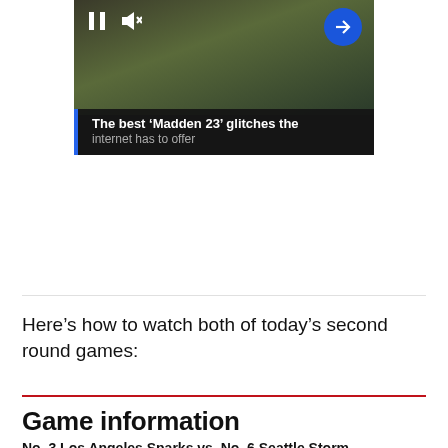[Figure (screenshot): Video player thumbnail showing a football/sports game clip with pause button, mute icon on left, and a blue circular arrow button on right. Caption bar at bottom reads: 'The best ‘Madden 23’ glitches the internet has to offer']
Here’s how to watch both of today’s second round games:
Game information
No. 3 Los Angeles Sparks vs. No. 6 Seattle Storm
When: Sunday, Sept. 15, at 3 p.m. ET